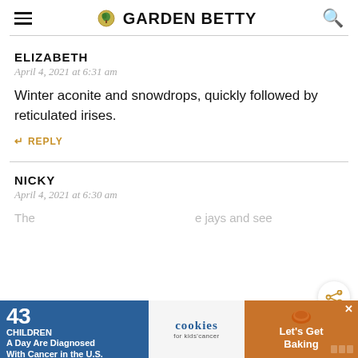GARDEN BETTY
ELIZABETH
April 4, 2021 at 6:31 am

Winter aconite and snowdrops, quickly followed by reticulated irises.

REPLY
NICKY
April 4, 2021 at 6:30 am
[Figure (screenshot): Advertisement banner: '43 CHILDREN A Day Are Diagnosed With Cancer in the U.S.' with cookies for kids cancer and 'Let's Get Baking' buttons]